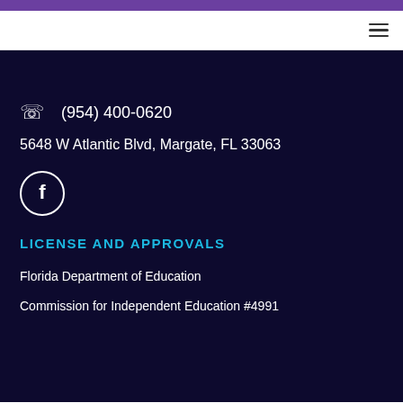Navigation bar with hamburger menu
(954) 400-0620
5648 W Atlantic Blvd, Margate, FL 33063
[Figure (logo): Facebook icon in a circle outline]
LICENSE AND APPROVALS
Florida Department of Education
Commission for Independent Education #4991